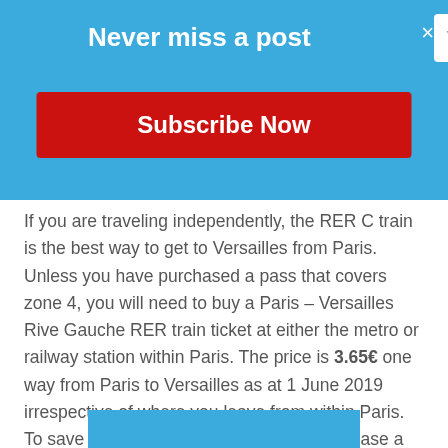Never miss a post
If you are traveling independently, the RER C train is the best way to get to Versailles from Paris. Unless you have purchased a pass that covers zone 4, you will need to buy a Paris – Versailles Rive Gauche RER train ticket at either the metro or railway station within Paris. The price is 3.65€ one way from Paris to Versailles as at 1 June 2019 irrespective of where you leave from within Paris. To save time when returning to Paris, purchase a return ticket at the same time. Transfers from the metro are included in your RER ticket.
[Figure (screenshot): Blue banner at bottom of page]